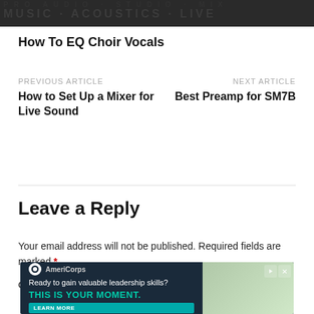[Figure (photo): Dark banner image with repeating watermark-style text pattern in dark gray]
How To EQ Choir Vocals
PREVIOUS ARTICLE
How to Set Up a Mixer for Live Sound
NEXT ARTICLE
Best Preamp for SM7B
Leave a Reply
Your email address will not be published. Required fields are marked *
COMMENT *
[Figure (screenshot): AmeriCorps advertisement banner: 'Ready to gain valuable leadership skills? THIS IS YOUR MOMENT.' with people in background]